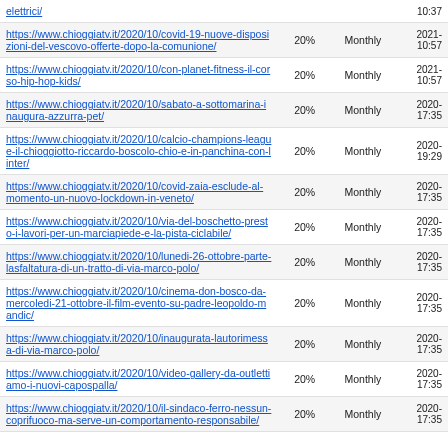| URL | Priority | Change Frequency | Last Modified |
| --- | --- | --- | --- |
| elettrici/ |  |  | 10:37 |
| https://www.chioggiatv.it/2020/10/covid-19-nuove-disposizioni-del-vescovo-offerte-dopo-la-comunione/ | 20% | Monthly | 2021-
10:57 |
| https://www.chioggiatv.it/2020/10/con-planet-fitness-il-corso-hip-hop-kids/ | 20% | Monthly | 2021-
10:57 |
| https://www.chioggiatv.it/2020/10/sabato-a-sottomarina-inaugura-azzurra-pet/ | 20% | Monthly | 2020-
17:35 |
| https://www.chioggiatv.it/2020/10/calcio-champions-league-il-chioggiotto-riccardo-boscolo-chio-e-in-panchina-con-linter/ | 20% | Monthly | 2020-
19:29 |
| https://www.chioggiatv.it/2020/10/covid-zaia-esclude-al-momento-un-nuovo-lockdown-in-veneto/ | 20% | Monthly | 2020-
17:35 |
| https://www.chioggiatv.it/2020/10/via-del-boschetto-presto-i-lavori-per-un-marciapiede-e-la-pista-ciclabile/ | 20% | Monthly | 2020-
17:35 |
| https://www.chioggiatv.it/2020/10/lunedi-26-ottobre-parte-lasfaltatura-di-un-tratto-di-via-marco-polo/ | 20% | Monthly | 2020-
17:35 |
| https://www.chioggiatv.it/2020/10/cinema-don-bosco-da-mercoledi-21-ottobre-il-film-evento-su-padre-leopoldo-mandic/ | 20% | Monthly | 2020-
17:35 |
| https://www.chioggiatv.it/2020/10/inaugurata-lautorimessa-di-via-marco-polo/ | 20% | Monthly | 2020-
17:35 |
| https://www.chioggiatv.it/2020/10/video-gallery-da-outlettiamo-i-nuovi-capospalla/ | 20% | Monthly | 2020-
17:35 |
| https://www.chioggiatv.it/2020/10/il-sindaco-ferro-nessun-coprifuoco-ma-serve-un-comportamento-responsabile/ | 20% | Monthly | 2020-
17:35 |